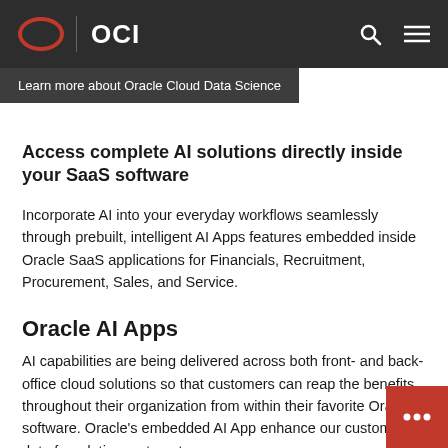OCI
Learn more about Oracle Cloud Data Science
Access complete AI solutions directly inside your SaaS software
Incorporate AI into your everyday workflows seamlessly through prebuilt, intelligent AI Apps features embedded inside Oracle SaaS applications for Financials, Recruitment, Procurement, Sales, and Service.
Oracle AI Apps
AI capabilities are being delivered across both front- and back-office cloud solutions so that customers can reap the benefits throughout their organization from within their favorite Oracle software. Oracle's embedded AI Apps enhance our customers' data foundation, automati…